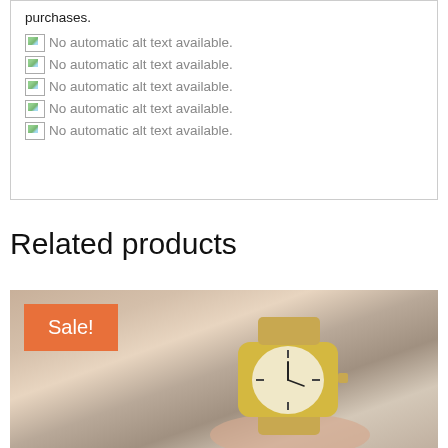purchases.
[Figure (other): Broken image placeholder: No automatic alt text available.]
[Figure (other): Broken image placeholder: No automatic alt text available.]
[Figure (other): Broken image placeholder: No automatic alt text available.]
[Figure (other): Broken image placeholder: No automatic alt text available.]
[Figure (other): Broken image placeholder: No automatic alt text available.]
Related products
[Figure (photo): A gold luxury watch held by a hand, with a Sale! badge overlay in orange.]